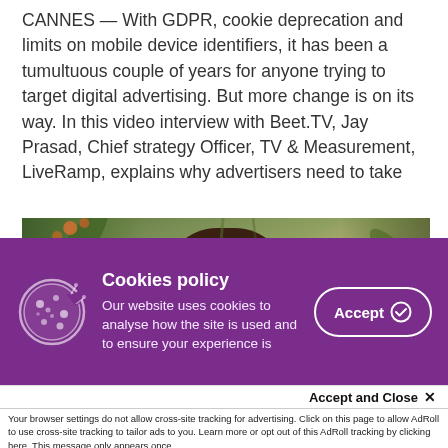CANNES — With GDPR, cookie deprecation and limits on mobile device identifiers, it has been a tumultuous couple of years for anyone trying to target digital advertising. But more change is on its way. In this video interview with Beet.TV, Jay Prasad, Chief strategy Officer, TV & Measurement, LiveRamp, explains why advertisers need to take
[Figure (photo): Woman with curly dark hair smiling outdoors at Cannes, holding a microphone, with green foliage in the background]
Cookies policy
Our website uses cookies to analyse how the site is used and to ensure your experience is
Accept and Close ✕
Your browser settings do not allow cross-site tracking for advertising. Click on this page to allow AdRoll to use cross-site tracking to tailor ads to you. Learn more or opt out of this AdRoll tracking by clicking here. This message only appears once.